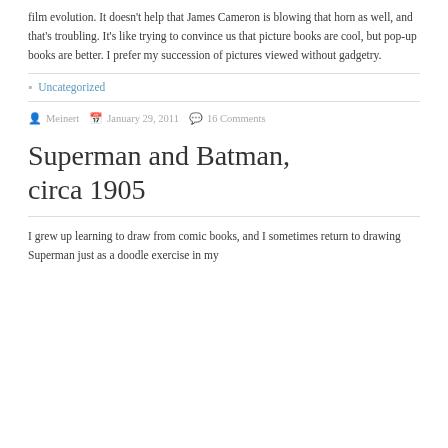film evolution. It doesn't help that James Cameron is blowing that horn as well, and that's troubling. It's like trying to convince us that picture books are cool, but pop-up books are better. I prefer my succession of pictures viewed without gadgetry.
Uncategorized
Meinert   January 29, 2011   16 Comments
Superman and Batman, circa 1905
I grew up learning to draw from comic books, and I sometimes return to drawing Superman just as a doodle exercise in my